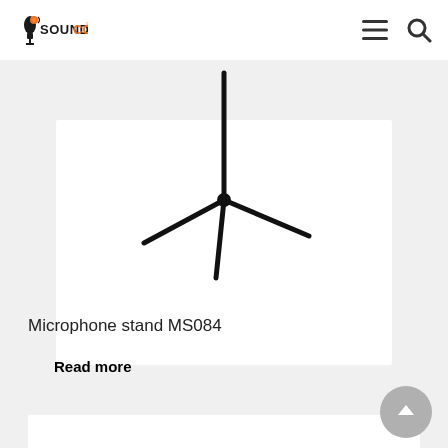SOUNDCO
[Figure (photo): A black tripod microphone stand (MS084) on a white background, showing the three-legged base and vertical pole.]
Microphone stand MS084
Read more
[Figure (photo): Bottom portion of another product card, partially visible.]